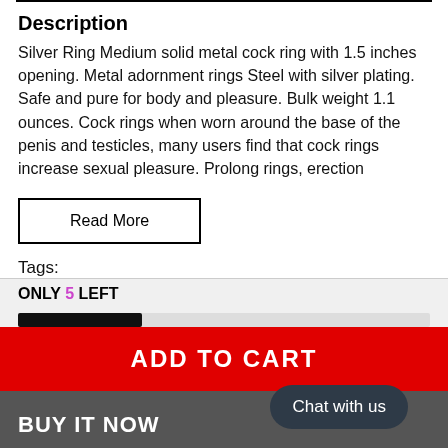Description
Silver Ring Medium solid metal cock ring with 1.5 inches opening. Metal adornment rings Steel with silver plating. Safe and pure for body and pleasure. Bulk weight 1.1 ounces. Cock rings when worn around the base of the penis and testicles, many users find that cock rings increase sexual pleasure. Prolong rings, erection
Read More
Tags:
ONLY 5 LEFT
ADD TO CART
BUY IT NOW
Chat with us
Someone purchased a
Glow-in-Dark Jelly Penis Vibe 7in Green